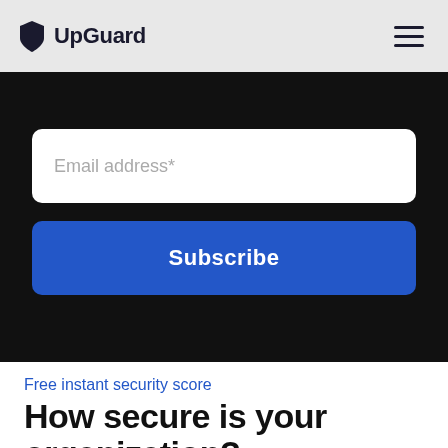UpGuard
[Figure (screenshot): Email address input field (white box on dark background) with placeholder text 'Email address*']
[Figure (screenshot): Blue Subscribe button on dark background]
Free instant security score
How secure is your organization?
Request a free cybersecurity report to discover key risks on your website, email, network, and brand.